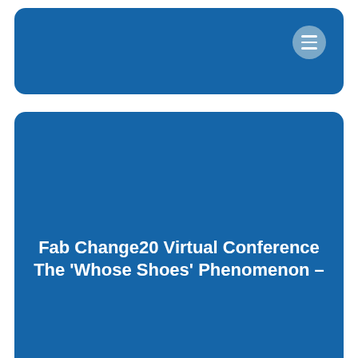[Figure (screenshot): Top blue rounded card with a hamburger menu button in the upper right corner]
[Figure (screenshot): Bottom blue rounded card containing the title text 'Fab Change20 Virtual Conference The ‘Whose Shoes’ Phenomenon –']